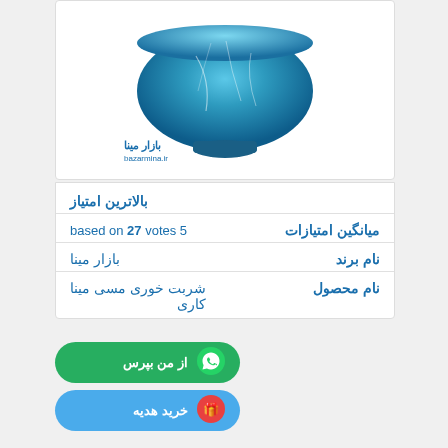[Figure (photo): A blue enamel (mina) copper bowl on white background with Bazar Mina watermark logo]
بالاترین امتیاز
میانگین امتیازات  5  based on 27 votes
نام برند  بازار مینا
نام محصول  شربت خوری مسی مینا کاری
از من بپرس
خرید هدیه